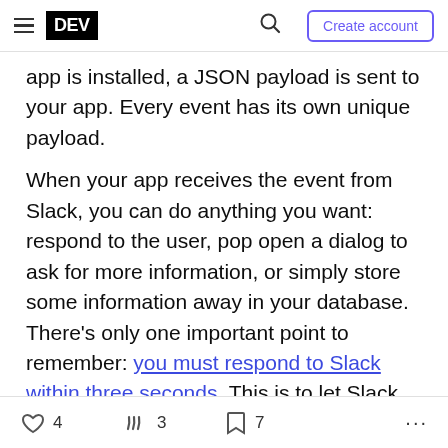≡  DEV  🔍  Create account
app is installed, a JSON payload is sent to your app. Every event has its own unique payload.
When your app receives the event from Slack, you can do anything you want: respond to the user, pop open a dialog to ask for more information, or simply store some information away in your database. There's only one important point to remember: you must respond to Slack within three seconds. This is to let Slack know that your app received its payload and is working on a response. You can do that work in the background—perhaps on a different thread, taking as long as you need—but only after you let
♡ 4   🔥 3   🔖 7   ...